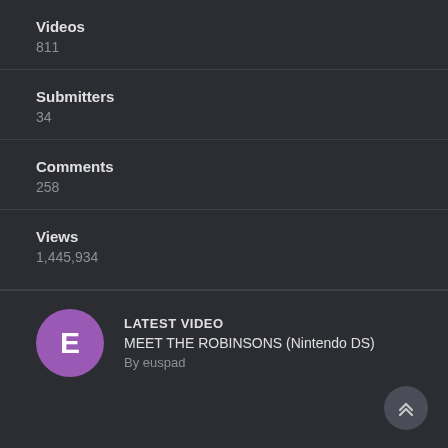Videos
811
Submitters
34
Comments
258
Views
1,445,934
LATEST VIDEO
MEET THE ROBINSONS (Nintendo DS)
By euspad